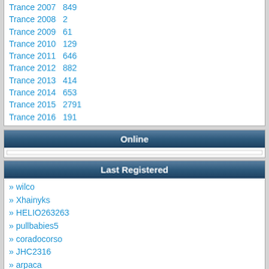Trance 2007   849
Trance 2008   2
Trance 2009   61
Trance 2010   129
Trance 2011   646
Trance 2012   882
Trance 2013   414
Trance 2014   653
Trance 2015   2791
Trance 2016   191
Online
Last Registered
» wilco
» Xhainyks
» HELIO263263
» pullbabies5
» coradocorso
» JHC2316
» arpaca
» EmmanuelSyd
» edwind
» hanmingjun
Site Infos:
Best Authors: